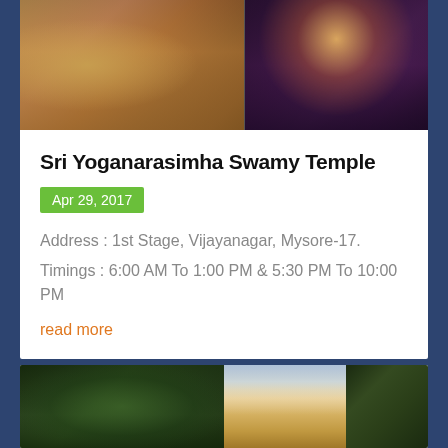[Figure (photo): Two photos of Sri Yoganarasimha Swamy Temple: left shows the temple exterior with red brick architecture and devotees, right shows the deity idol adorned with flowers and garlands]
Sri Yoganarasimha Swamy Temple
Apr 29, 2017
Address : 1st Stage, Vijayanagar, Mysore-17.
Timings : 6:00 AM To 1:00 PM & 5:30 PM To 10:00 PM
read more
[Figure (photo): Photo of a temple gopuram (tower) visible through large green trees, appears to be a South Indian temple with golden/ornate tower]